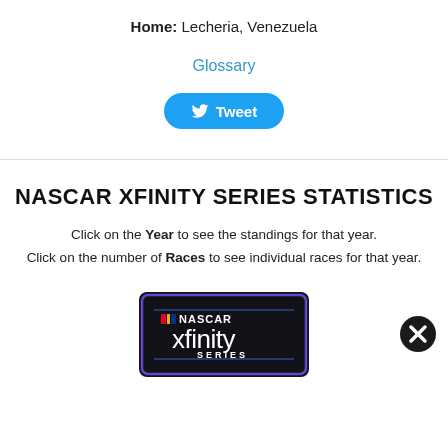Home: Lecheria, Venezuela
Glossary
[Figure (other): Tweet button with Twitter bird icon]
NASCAR XFINITY SERIES STATISTICS
Click on the Year to see the standings for that year.
Click on the number of Races to see individual races for that year.
[Figure (logo): NASCAR Xfinity Series logo badge on dark background with purple border]